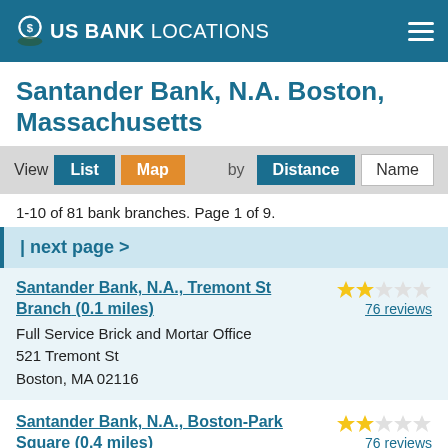US BANK LOCATIONS
Santander Bank, N.A. Boston, Massachusetts
View List Map by Distance Name
1-10 of 81 bank branches. Page 1 of 9.
| next page >
Santander Bank, N.A., Tremont St Branch (0.1 miles)
Full Service Brick and Mortar Office
521 Tremont St
Boston, MA 02116
76 reviews
Santander Bank, N.A., Boston-Park Square (0.4 miles)
Full Service Brick and Mortar Office
31 St. James Avenue
76 reviews